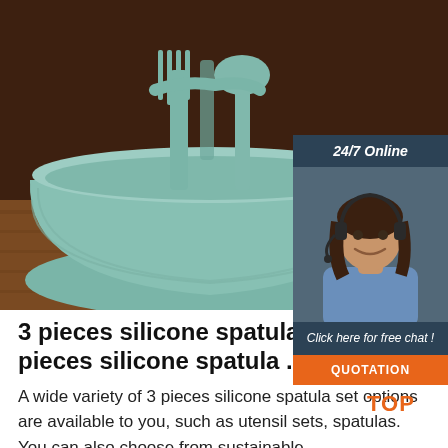[Figure (photo): A sage/mint green silicone bowl containing silicone utensils (fork and spatula) resting on a wooden surface against a dark brown background.]
[Figure (infographic): 24/7 Online chat widget overlay showing a smiling female customer service agent wearing a headset, with 'Click here for free chat!' text and an orange QUOTATION button.]
3 pieces silicone spatula set, 3 pieces silicone spatula ...
A wide variety of 3 pieces silicone spatula set options are available to you, such as utensil sets, spatulas. You can also choose from sustainable
[Figure (logo): Orange TOP logo with house/triangle shape made of dots above the word TOP]